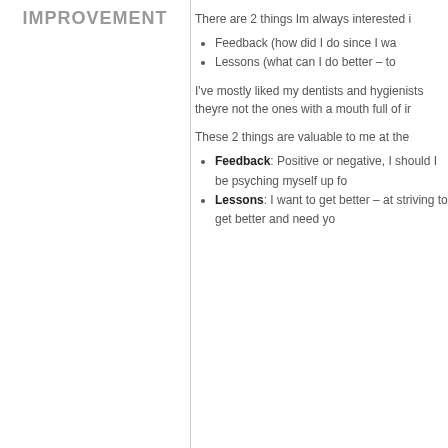IMPROVEMENT
There are 2 things Im always interested i
Feedback (how did I do since I wa
Lessons (what can I do better – to
I've mostly liked my dentists and hygienists theyre not the ones with a mouth full of ir
These 2 things are valuable to me at the
Feedback: Positive or negative, I should I be psyching myself up fo
Lessons: I want to get better – at striving to get better and need yo